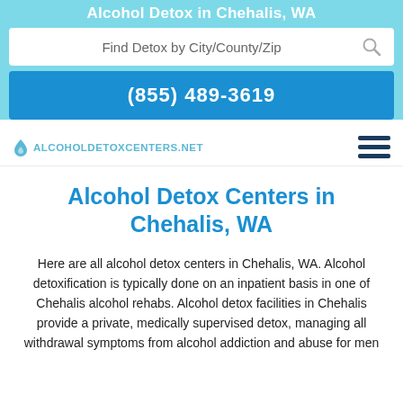Alcohol Detox in Chehalis, WA
Find Detox by City/County/Zip
(855) 489-3619
[Figure (logo): AlcoholDetoxCenters.net logo with water drop icon and hamburger menu icon]
Alcohol Detox Centers in Chehalis, WA
Here are all alcohol detox centers in Chehalis, WA. Alcohol detoxification is typically done on an inpatient basis in one of Chehalis alcohol rehabs. Alcohol detox facilities in Chehalis provide a private, medically supervised detox, managing all withdrawal symptoms from alcohol addiction and abuse for men